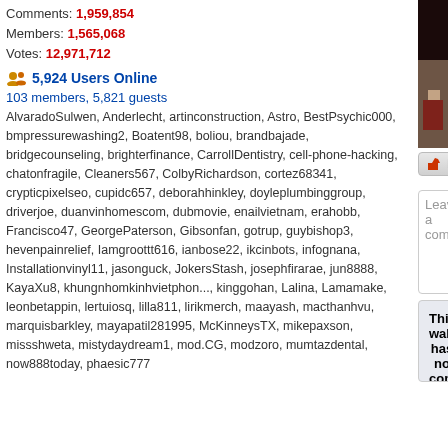Comments: 1,959,854
Members: 1,565,068
Votes: 12,971,712
5,924 Users Online
103 members, 5,821 guests
AlvaradoSulwen, Anderlecht, artinconstruction, Astro, BestPsychic000, bmpressurewashing2, Boatent98, boliou, brandbajade, bridgecounseling, brighterfinance, CarrollDentistry, cell-phone-hacking, chatonfragile, Cleaners567, ColbyRichardson, cortez68341, crypticpixelseo, cupidc657, deborahhinkley, doyleplumbinggroup, driverjoe, duanvinhomescom, dubmovie, enailvietnam, erahobb, Francisco47, GeorgePaterson, Gibsonfan, gotrup, guybishop3, hevenpainrelief, Iamgroottt616, ianbose22, ikcinbots, infognana, Installationvinyl11, jasonguck, JokersStash, josephfirarae, jun8888, KayaXu8, khungnhomkinhvietphon..., kinggohan, Lalina, Lamamake, leonbetappin, lertuiosq, lilla811, lirikmerch, maayash, macthanhvu, marquisbarkley, mayapatil281995, McKinneysTX, mikepaxson, missshweta, mistydaydream1, mod.CG, modzoro, mumtazdental, now888today, phaesic777
[Figure (photo): Partial image of a person in a pink dress on a red carpet, cropped at the top right.]
Report This Wallpaper
Add To F
Leave a comment...
This wallpaper has no comm